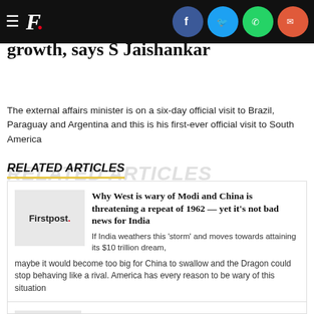Firstpost. [social share icons: Facebook, Twitter, WhatsApp, Email]
growth, says S Jaishankar
The external affairs minister is on a six-day official visit to Brazil, Paraguay and Argentina and this is his first-ever official visit to South America
RELATED ARTICLES
Why West is wary of Modi and China is threatening a repeat of 1962 — yet it's not bad news for India
If India weathers this 'storm' and moves towards attaining its $10 trillion dream, maybe it would become too big for China to swallow and the Dragon could stop behaving like a rival. America has every reason to be wary of this situation
'Maintaining peace along LAC': India and China hold Major General-level talks in Ladakh